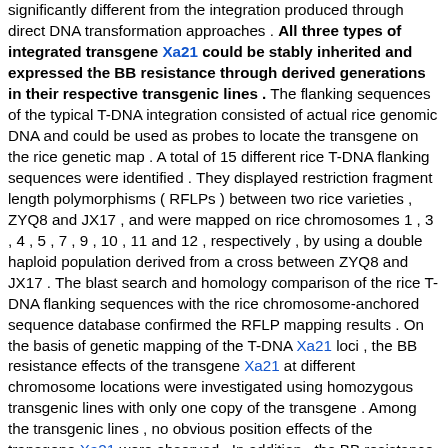significantly different from the integration produced through direct DNA transformation approaches . All three types of integrated transgene Xa21 could be stably inherited and expressed the BB resistance through derived generations in their respective transgenic lines . The flanking sequences of the typical T-DNA integration consisted of actual rice genomic DNA and could be used as probes to locate the transgene on the rice genetic map . A total of 15 different rice T-DNA flanking sequences were identified . They displayed restriction fragment length polymorphisms ( RFLPs ) between two rice varieties , ZYQ8 and JX17 , and were mapped on rice chromosomes 1 , 3 , 4 , 5 , 7 , 9 , 10 , 11 and 12 , respectively , by using a double haploid population derived from a cross between ZYQ8 and JX17 . The blast search and homology comparison of the rice T-DNA flanking sequences with the rice chromosome-anchored sequence database confirmed the RFLP mapping results . On the basis of genetic mapping of the T-DNA Xa21 loci , the BB resistance effects of the transgene Xa21 at different chromosome locations were investigated using homozygous transgenic lines with only one copy of the transgene . Among the transgenic lines , no obvious position effects of the transgene Xa21 were observed . In addition , the BB resistance levels of the Xa21 transgenic plants with different transgene copy numbers and on different genetic backgrounds were also investigated . It was observed that genetic background ( or genome ) effects were more obvious than dosage effects and position effects on the BB resistance level of the transgenic plants . [ Sen. 11, subscore: 1.00 ]: The flanking sequences of integrated T-DNAs were isolated from Xa21 transgenic rice lines using thermal asymmetric interlaced PCR . Based on the analysis of 24 T-DNA Xa21 flanking sequences , T-DNA loci in rice could be classified into three types : the typical T-DNA integration with the definite left and right borders , the T-DNA integration linked with the adjacent vector backbone sequences and the T-DNA integration involved in a complicated